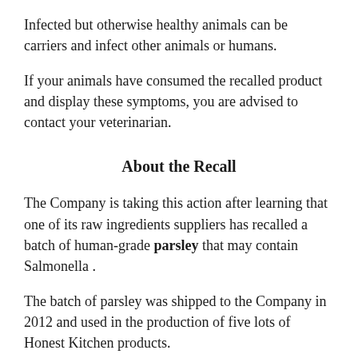Infected but otherwise healthy animals can be carriers and infect other animals or humans.
If your animals have consumed the recalled product and display these symptoms, you are advised to contact your veterinarian.
About the Recall
The Company is taking this action after learning that one of its raw ingredients suppliers has recalled a batch of human-grade parsley that may contain Salmonella.
The batch of parsley was shipped to the Company in 2012 and used in the production of five lots of Honest Kitchen products.
The Honest Kitchen claims to regularly test for Salmonella and other pathogens as part of its quality